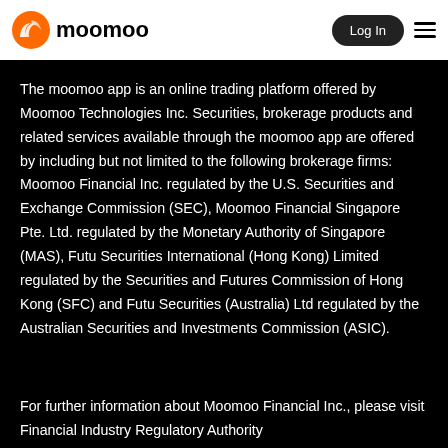moomoo | Log In
The moomoo app is an online trading platform offered by Moomoo Technologies Inc. Securities, brokerage products and related services available through the moomoo app are offered by including but not limited to the following brokerage firms: Moomoo Financial Inc. regulated by the U.S. Securities and Exchange Commission (SEC), Moomoo Financial Singapore Pte. Ltd. regulated by the Monetary Authority of Singapore (MAS), Futu Securities International (Hong Kong) Limited regulated by the Securities and Futures Commission of Hong Kong (SFC) and Futu Securities (Australia) Ltd regulated by the Australian Securities and Investments Commission (ASIC).
For further information about Moomoo Financial Inc., please visit Financial Industry Regulatory Authority